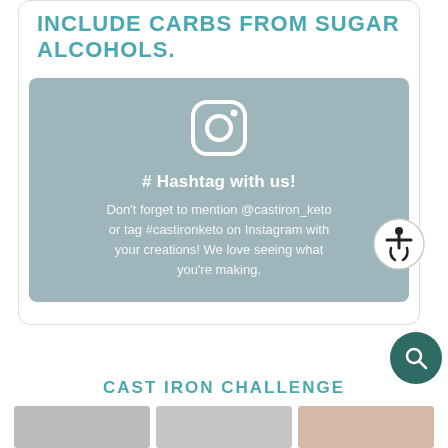INCLUDE CARBS FROM SUGAR ALCOHOLS.
[Figure (infographic): Instagram hashtag call-to-action box with Instagram icon, bold hashtag text, and body text inviting users to mention @castiron_keto or tag #castironketo on Instagram with creations.]
CAST IRON CHALLENGE